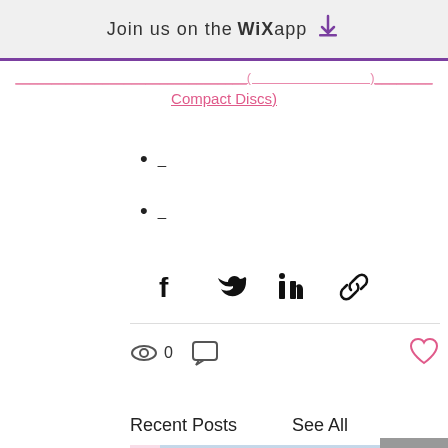Join us on the WiX app
Compact Discs)
_
_
[Figure (infographic): Social share icons: Facebook, Twitter, LinkedIn, link/chain icon]
0
Recent Posts
See All
[Figure (photo): Historical painting showing George Washington and other colonial-era military figures shaking hands outdoors]